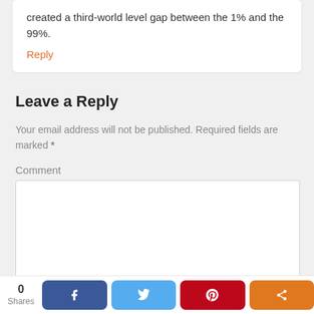created a third-world level gap between the 1% and the 99%.
Reply
Leave a Reply
Your email address will not be published. Required fields are marked *
Comment
[Figure (screenshot): Social share bar with 0 Shares count, Facebook, Twitter, Pinterest, and generic share buttons]